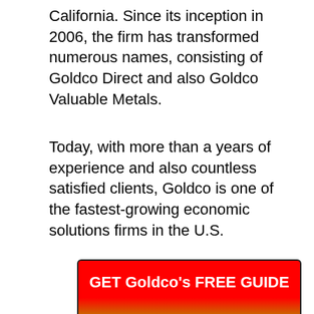California. Since its inception in 2006, the firm has transformed numerous names, consisting of Goldco Direct and also Goldco Valuable Metals.
Today, with more than a years of experience and also countless satisfied clients, Goldco is one of the fastest-growing economic solutions firms in the U.S.
[Figure (other): Red button with gradient from red to gold/orange at bottom, with bold white text reading 'GET Goldco's FREE GUIDE']
Goldco uses precious metal Individual retirement accounts funded by gold and silver but for capitalists that wish to diversify